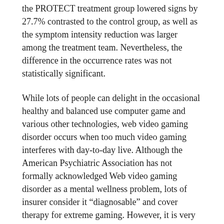the PROTECT treatment group lowered signs by 27.7% contrasted to the control group, as well as the symptom intensity reduction was larger among the treatment team. Nevertheless, the difference in the occurrence rates was not statistically significant.
While lots of people can delight in the occasional healthy and balanced use computer game and various other technologies, web video gaming disorder occurs when too much video gaming interferes with day-to-day live. Although the American Psychiatric Association has not formally acknowledged Web video gaming disorder as a mental wellness problem, lots of insurer consider it “diagnosable” and cover therapy for extreme gaming. However, it is very important to note that the problem does not necessarily imply that too much video gaming is an issue.